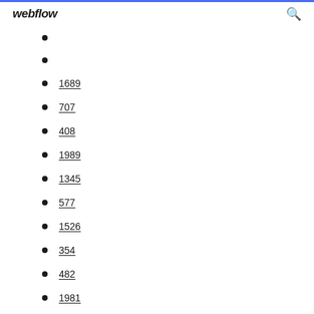webflow
1689
707
408
1989
1345
577
1526
354
482
1981